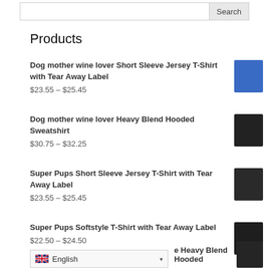[Figure (screenshot): Search bar input with Search button on the right]
Products
Dog mother wine lover Short Sleeve Jersey T-Shirt with Tear Away Label
$23.55 – $25.45
Dog mother wine lover Heavy Blend Hooded Sweatshirt
$30.75 – $32.25
Super Pups Short Sleeve Jersey T-Shirt with Tear Away Label
$23.55 – $25.45
Super Pups Softstyle T-Shirt with Tear Away Label
$22.50 – $24.50
...e Heavy Blend Hooded (partial)
[Figure (screenshot): Language selector dropdown showing English with UK flag]